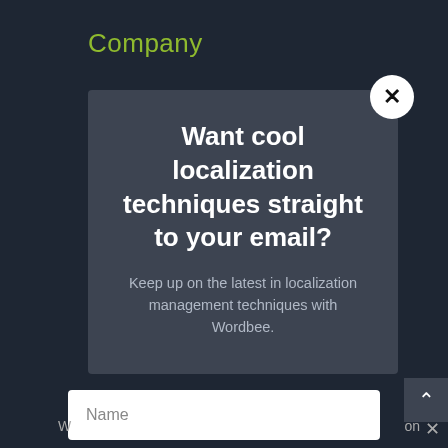Company
Want cool localization techniques straight to your email?
Keep up on the latest in localization management techniques with Wordbee.
Name
Email
SUBSCRIBE!